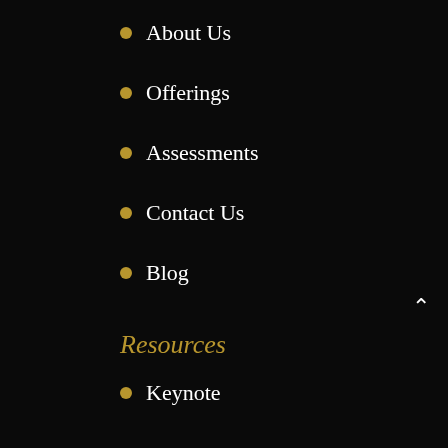About Us
Offerings
Assessments
Contact Us
Blog
Resources
Keynote
Quotes
Workshops
Business Thinking Radio
Contact us
Princeton, NJ 08540, U.S.A.